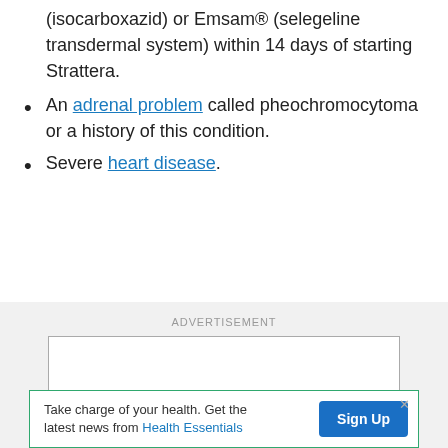(isocarboxazid) or Emsam® (selegeline transdermal system) within 14 days of starting Strattera.
An adrenal problem called pheochromocytoma or a history of this condition.
Severe heart disease.
[Figure (other): Advertisement placeholder box with grey background and ADVERTISEMENT label]
Take charge of your health. Get the latest news from Health Essentials  Sign Up